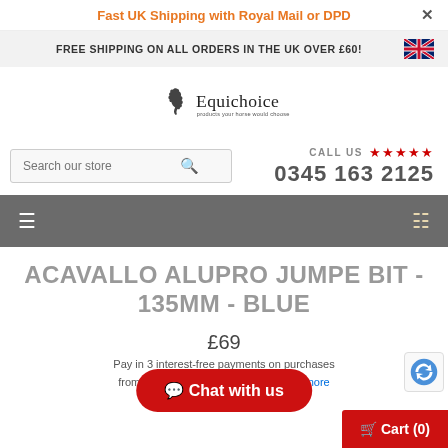Fast UK Shipping with Royal Mail or DPD
FREE SHIPPING ON ALL ORDERS IN THE UK OVER £60!
[Figure (logo): Equichoice logo with horse silhouette and tagline 'products your horse would choose']
Search our store
CALL US ★★★★★ 0345 163 2125
[Figure (screenshot): Grey navigation bar with hamburger menu icon on left and shopping cart icon on right]
ACAVALLO ALUPRO JUMPE BIT - 135MM - BLUE
£69
Pay in 3 interest-free payments on purchases from £30-£2,000 with PayPal. Learn more